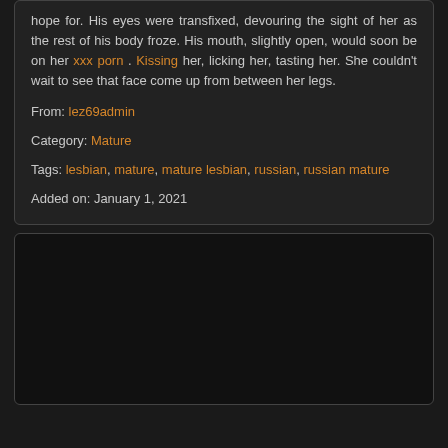hope for. His eyes were transfixed, devouring the sight of her as the rest of his body froze. His mouth, slightly open, would soon be on her xxx porn . Kissing her, licking her, tasting her. She couldn't wait to see that face come up from between her legs.
From: lez69admin
Category: Mature
Tags: lesbian, mature, mature lesbian, russian, russian mature
Added on: January 1, 2021
[Figure (other): Dark black rectangular content area placeholder]